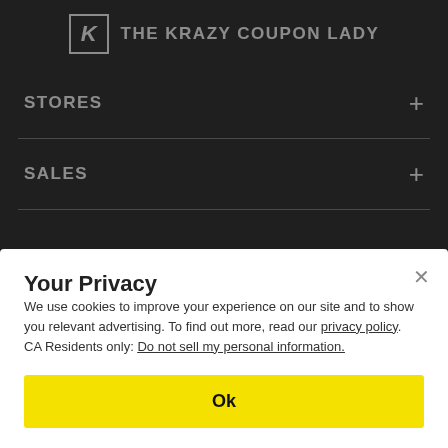THE KRAZY COUPON LADY
STORES
SALES
Your Privacy
We use cookies to improve your experience on our site and to show you relevant advertising. To find out more, read our privacy policy.
CA Residents only: Do not sell my personal information.
Ok